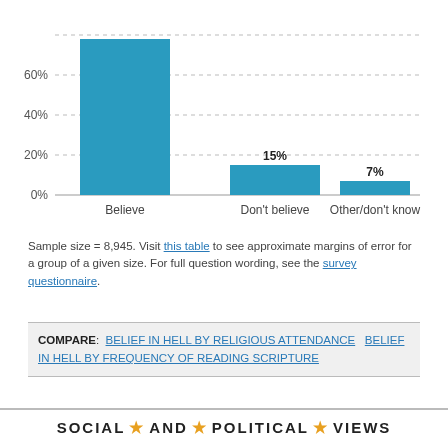[Figure (bar-chart): ]
Sample size = 8,945. Visit this table to see approximate margins of error for a group of a given size. For full question wording, see the survey questionnaire.
COMPARE:  BELIEF IN HELL BY RELIGIOUS ATTENDANCE   BELIEF IN HELL BY FREQUENCY OF READING SCRIPTURE
SOCIAL ★ AND ★ POLITICAL ★ VIEWS